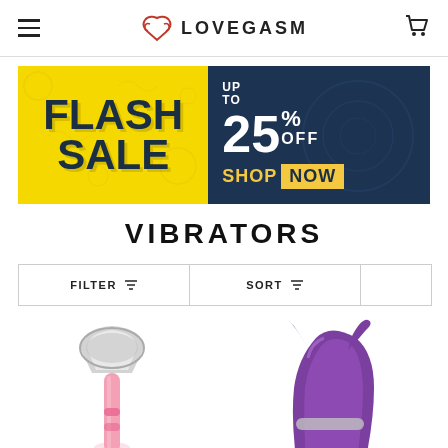LOVEGASM - Navigation header with hamburger menu and cart icon
[Figure (infographic): Flash Sale banner: left half yellow background with 'FLASH SALE' text in dark navy, right half dark navy background with 'UP TO 25% OFF SHOP NOW' text]
VIBRATORS
| FILTER | SORT |  |
| --- | --- | --- |
|  |
[Figure (photo): Pink vibrator product image - partially visible]
[Figure (photo): Purple vibrator product image - partially visible]